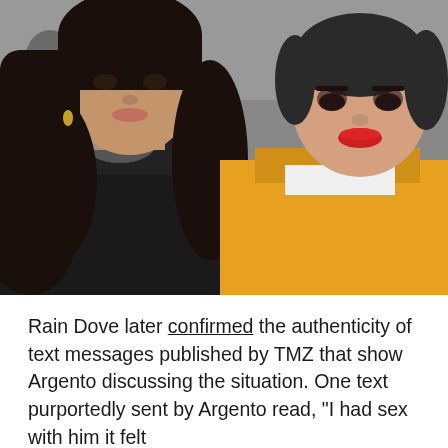[Figure (photo): Two women standing in a crowd. The woman on the left has long dark curly hair with bangs, wearing a black leather jacket, with visible neck tattoo. The woman on the right has very short hair, wearing a yellow/mustard top with red lipstick. Multiple people visible in the background.]
Rain Dove later confirmed the authenticity of text messages published by TMZ that show Argento discussing the situation. One text purportedly sent by Argento read, "I had sex with him it felt